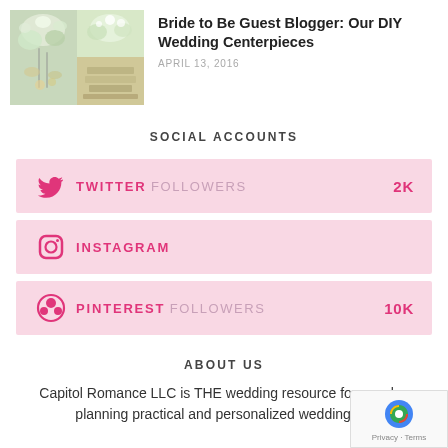[Figure (photo): Wedding centerpiece photo collage: left column shows floral arrangement with greenery and candles, top-right shows eucalyptus and white flowers, bottom-right shows a stack of wooden books]
Bride to Be Guest Blogger: Our DIY Wedding Centerpieces
APRIL 13, 2016
SOCIAL ACCOUNTS
TWITTER FOLLOWERS 2K
INSTAGRAM
PINTEREST FOLLOWERS 10K
ABOUT US
Capitol Romance LLC is THE wedding resource for couples planning practical and personalized weddings in